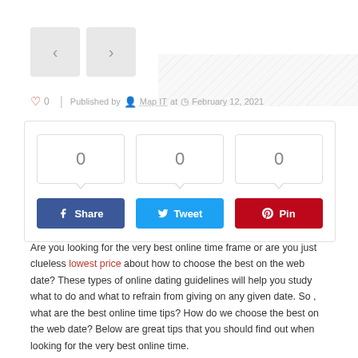[Figure (other): Navigation previous/next arrow buttons and diagonal striped background area]
❤ 0 | Published by 👤 Map IT at 🕐 February 12, 2021
[Figure (infographic): Social share box with three count boxes showing 0, 0, 0 and Share, Tweet, Pin buttons]
Are you looking for the very best online time frame or are you just clueless lowest price about how to choose the best on the web date? These types of online dating guidelines will help you study what to do and what to refrain from giving on any given date. So , what are the best online time tips? How do we choose the best on the web date? Below are great tips that you should find out when looking for the very best online time.